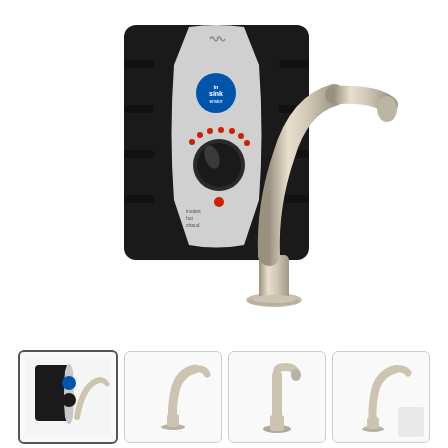[Figure (photo): InSinkErator instant hot water dispenser system showing a black tank/heater unit with silver control panel featuring a rotary temperature knob with red indicator lights and InSinkErator logo, paired with a polished nickel curved goose-neck faucet on white background.]
[Figure (photo): Thumbnail 1 (selected/highlighted): Close-up of the InSinkErator tank and faucet together.]
[Figure (photo): Thumbnail 2: Side view of the curved nickel faucet only.]
[Figure (photo): Thumbnail 3: Front view of the faucet, straighter angle.]
[Figure (photo): Thumbnail 4: Angled view of the faucet on white background.]